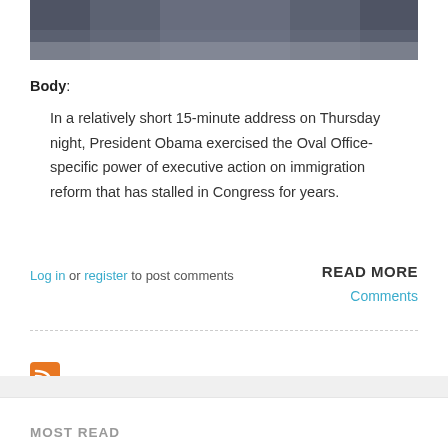[Figure (photo): Photo of President Obama at a podium, with other officials visible behind him]
Body: In a relatively short 15-minute address on Thursday night, President Obama exercised the Oval Office-specific power of executive action on immigration reform that has stalled in Congress for years.
Log in or register to post comments
READ MORE
Comments
[Figure (logo): RSS feed icon (orange square with white RSS symbol)]
MOST READ